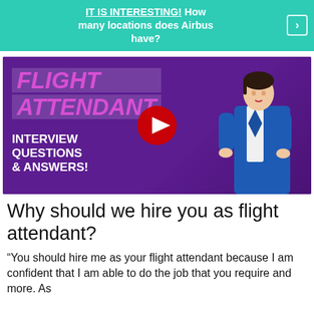IT IS INTERESTING! How many locations does Airbus have?
[Figure (screenshot): YouTube video thumbnail with purple background showing a flight attendant woman in blue uniform. Text on left reads FLIGHT ATTENDANT in pink italic, then INTERVIEW QUESTIONS & ANSWERS! in white bold. Red YouTube play button in center.]
Why should we hire you as flight attendant?
“You should hire me as your flight attendant because I am confident that I am able to do the job that you require and more. As